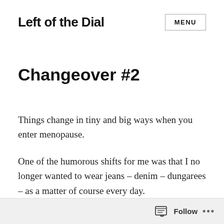Left of the Dial   MENU
Changeover #2
Things change in tiny and big ways when you enter menopause.
One of the humorous shifts for me was that I no longer wanted to wear jeans – denim – dungarees – as a matter of course every day.
Follow ...